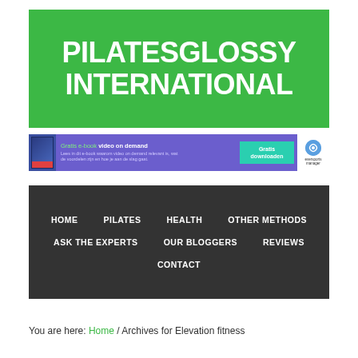[Figure (logo): PilatesGlossy International logo — large white bold text on green background]
[Figure (infographic): Advertisement banner: Gratis e-book video on demand, purple background with book image, teal download button, eversports manager logo]
[Figure (infographic): Navigation bar with dark grey background containing: HOME, PILATES, HEALTH, OTHER METHODS, ASK THE EXPERTS, OUR BLOGGERS, REVIEWS, CONTACT]
You are here: Home / Archives for Elevation fitness